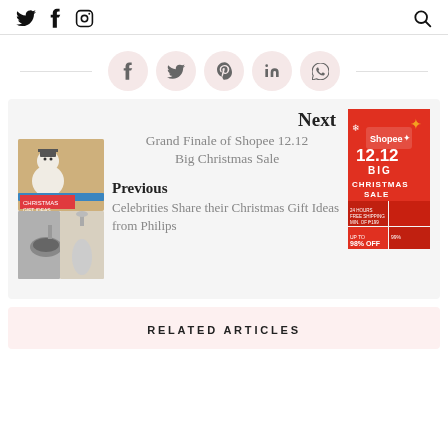Twitter, Facebook, Instagram social icons, Search icon
[Figure (infographic): Social share buttons row: Facebook, Twitter, Pinterest, LinkedIn, WhatsApp circular pink buttons with horizontal divider lines on each side]
[Figure (infographic): Navigation cards area with Next: Grand Finale of Shopee 12.12 Big Christmas Sale (with Shopee red banner image) and Previous: Celebrities Share their Christmas Gift Ideas from Philips (with Philips product collage image)]
RELATED ARTICLES